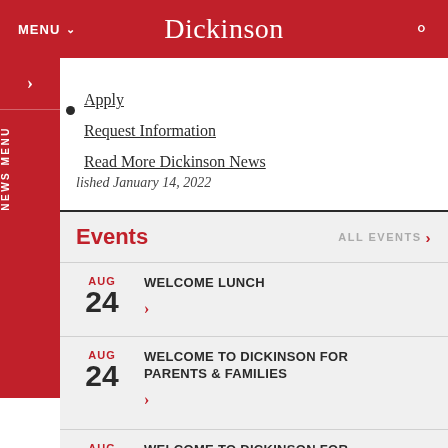MENU  Dickinson  🔍
Apply
Request Information
Read More Dickinson News
Published January 14, 2022
Events  ALL EVENTS ›
AUG 24 WELCOME LUNCH ›
AUG 24 WELCOME TO DICKINSON FOR PARENTS & FAMILIES ›
AUG WELCOME TO DICKINSON FOR